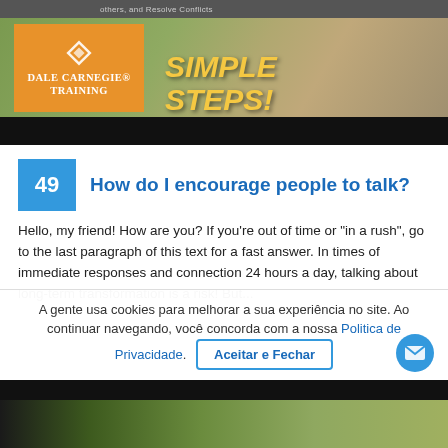[Figure (photo): Dale Carnegie Training banner image showing a person outdoors holding a book, with orange Dale Carnegie Training logo box on the left and 'SIMPLE STEPS!' text in yellow on the right. Top bar reads 'others, and Resolve Conflicts'. Black bar at bottom.]
49   How do I encourage people to talk?
Hello, my friend! How are you? If you're out of time or "in a rush", go to the last paragraph of this text for a fast answer. In times of immediate responses and connection 24 hours a day, talking about long-term transformation is a risk! But...
A gente usa cookies para melhorar a sua experiência no site. Ao continuar navegando, você concorda com a nossa Politica de Privacidade.  Aceitar e Fechar
[Figure (photo): Bottom thumbnail strip showing partial outdoor scene, dark background with greenish tones.]